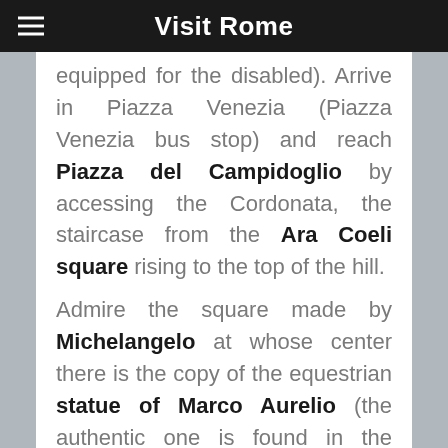Visit Rome
equipped for the disabled). Arrive in Piazza Venezia (Piazza Venezia bus stop) and reach Piazza del Campidoglio by accessing the Cordonata, the staircase from the Ara Coeli square rising to the top of the hill.
Admire the square made by Michelangelo at whose center there is the copy of the equestrian statue of Marco Aurelio (the authentic one is found in the Capitoline Museums).